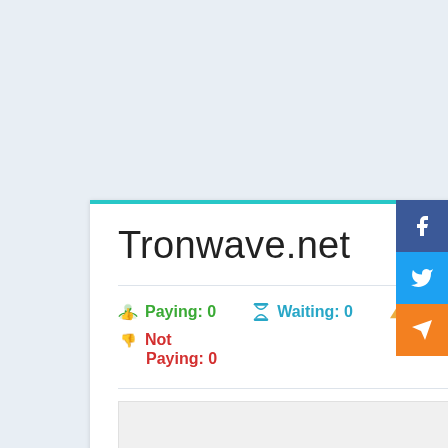Tronwave.net
153 days
Paying: 0
Waiting: 0
Problem: 0
Not Paying: 0
[Figure (screenshot): Social share buttons: Facebook (blue), Twitter (light blue), Telegram (orange) on right edge]
[Figure (screenshot): Grey advertisement placeholder box at bottom]